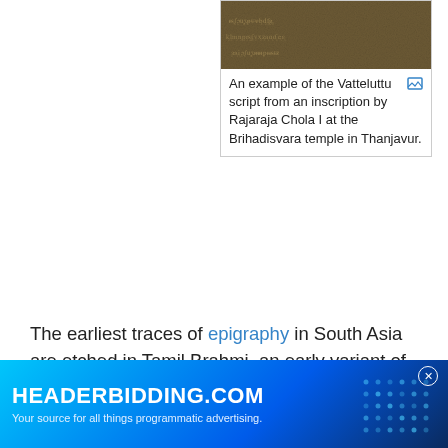[Figure (photo): Stone inscription showing Vatteluttu script, dark brown/tan textured surface with carved text]
An example of the Vatteluttu script from an inscription by Rajaraja Chola I at the Brihadisvara temple in Thanjavur.
The earliest traces of epigraphy in South Asia are etched in Tamil Brahmi, an early variant of the Brahmi script used to write Tamil characters, onto stones and potsherds found in Sri Lanka, dating to c. the sixth century B.C.E. (possibly the seventh century B.C.E.). Inscriptions in the Brahmi script appeared on the Indian subcontinent proper, from about the third century B.C.E. (Ashoka inscriptions). Indian epigraphy became more widespread over the first millennium C.E., engraved on the faces of cliffs, on pillars, on tablets of stone, and on metal, but also sometimes gouged into cave walls, carved on wooden boards, or made on palm leaves, coins, copper plates, and on temple walls.
[Figure (screenshot): Advertisement banner for HEADERBIDDING.COM - Your source for all things programmatic advertising. Blue gradient background with geometric dot pattern.]